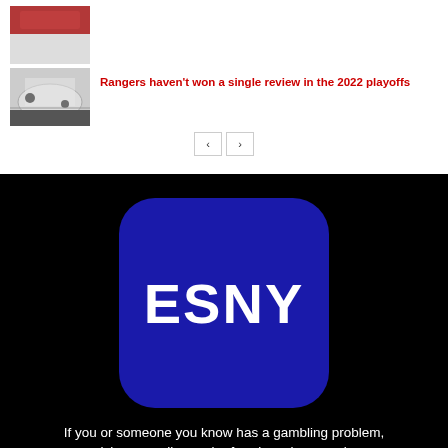[Figure (photo): Sports photo thumbnail (top, partially cropped) - appears to be hockey/Rangers related]
[Figure (photo): Hockey rink photo thumbnail showing players on ice]
Rangers haven't won a single review in the 2022 playoffs
[Figure (logo): ESNY logo - white text on blue rounded square background, on black background]
If you or someone you know has a gambling problem, crisis counseling and referral services can be